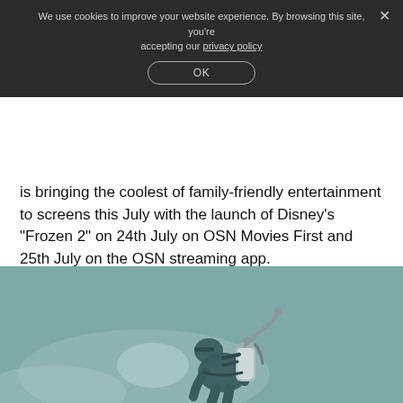We use cookies to improve your website experience. By browsing this site, you're accepting our privacy policy
is bringing the coolest of family-friendly entertainment to screens this July with the launch of Disney's “Frozen 2” on 24th July on OSN Movies First and 25th July on the OSN streaming app.
View Details
[Figure (photo): A person in protective gear with a backpack tank and hose, shown from behind, in a teal/muted color tone resembling a Chernobyl-themed promotional image.]